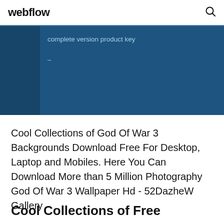webflow
[Figure (screenshot): Dark blue banner with a partial figure image on the left and text 'complete version product key' and a dash below it on a dark blue background]
Cool Collections of God Of War 3 Backgrounds Download Free For Desktop, Laptop and Mobiles. Here You Can Download More than 5 Million Photography God Of War 3 Wallpaper Hd - 52DazheW Gallery
Cool Collections of Free